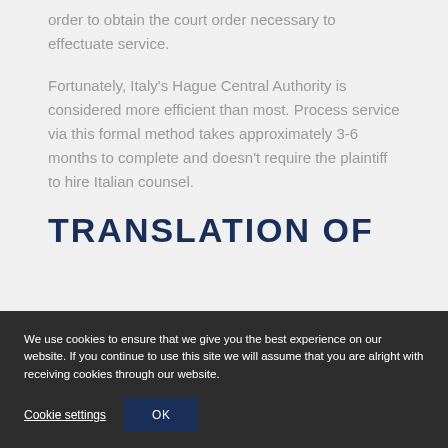order to obtain the court order necessary to effectuate service.
Fortunately, Italy's Hague Central Authority is considered more efficient than most. Process service via this formal method takes approximately 3-6 months to complete and doesn't require the plaintiff to hire Italian counsel.
TRANSLATION OF
We use cookies to ensure that we give you the best experience on our website. If you continue to use this site we will assume that you are alright with receiving cookies through our website.